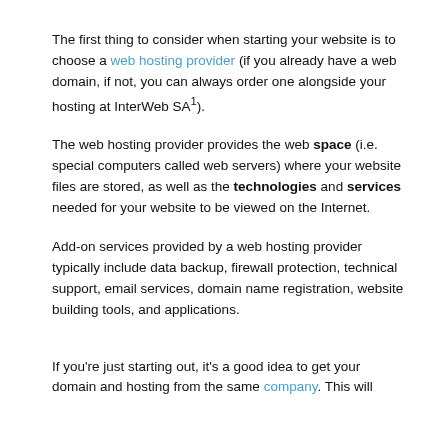The first thing to consider when starting your website is to choose a web hosting provider (if you already have a web domain, if not, you can always order one alongside your hosting at InterWeb SA¹).
The web hosting provider provides the web space (i.e. special computers called web servers) where your website files are stored, as well as the technologies and services needed for your website to be viewed on the Internet.
Add-on services provided by a web hosting provider typically include data backup, firewall protection, technical support, email services, domain name registration, website building tools, and applications.
If you're just starting out, it's a good idea to get your domain and hosting from the same company. This will